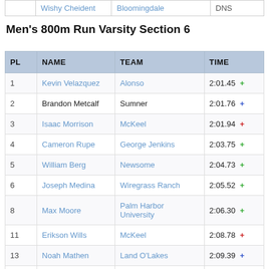|  |  |  |  |
| --- | --- | --- | --- |
|  | Wishy Cheident | Bloomingdale | DNS |
Men's 800m Run Varsity Section 6
| PL | NAME | TEAM | TIME |
| --- | --- | --- | --- |
| 1 | Kevin Velazquez | Alonso | 2:01.45 + |
| 2 | Brandon Metcalf | Sumner | 2:01.76 + |
| 3 | Isaac Morrison | McKeel | 2:01.94 + |
| 4 | Cameron Rupe | George Jenkins | 2:03.75 + |
| 5 | William Berg | Newsome | 2:04.73 + |
| 6 | Joseph Medina | Wiregrass Ranch | 2:05.52 + |
| 8 | Max Moore | Palm Harbor University | 2:06.30 + |
| 11 | Erikson Wills | McKeel | 2:08.78 + |
| 13 | Noah Mathen | Land O'Lakes | 2:09.39 + |
| 14 | Taylor Dreyer | Riverview | 2:09.60 + |